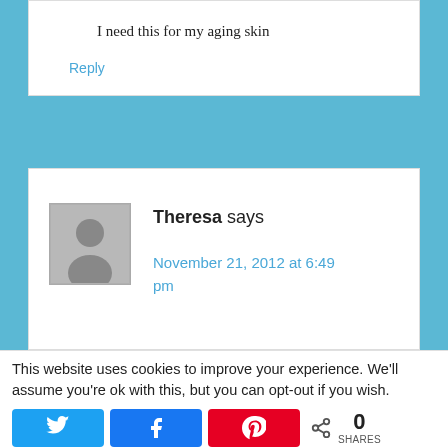I need this for my aging skin
Reply
Theresa says
November 21, 2012 at 6:49 pm
This website uses cookies to improve your experience. We'll assume you're ok with this, but you can opt-out if you wish.
[Figure (infographic): Social share buttons: Twitter (blue), Facebook (blue), Pinterest (red), and a share count showing 0 SHARES]